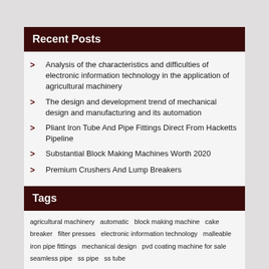Recent Posts
Analysis of the characteristics and difficulties of electronic information technology in the application of agricultural machinery
The design and development trend of mechanical design and manufacturing and its automation
Pliant Iron Tube And Pipe Fittings Direct From Hacketts Pipeline
Substantial Block Making Machines Worth 2020
Premium Crushers And Lump Breakers
Tags
agricultural machinery automatic block making machine cake breaker filter presses electronic information technology malleable iron pipe fittings mechanical design pvd coating machine for sale seamless pipe ss pipe ss tube